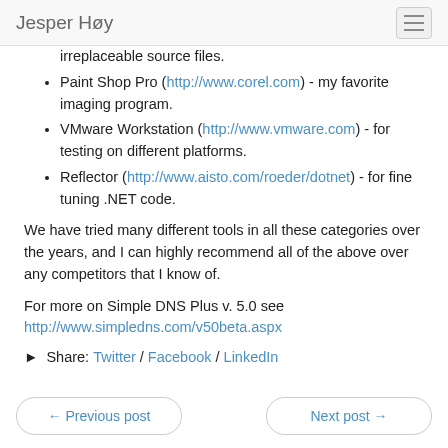Jesper Høy
irreplaceable source files.
Paint Shop Pro (http://www.corel.com) - my favorite imaging program.
VMware Workstation (http://www.vmware.com) - for testing on different platforms.
Reflector (http://www.aisto.com/roeder/dotnet) - for fine tuning .NET code.
We have tried many different tools in all these categories over the years, and I can highly recommend all of the above over any competitors that I know of.
For more on Simple DNS Plus v. 5.0 see http://www.simpledns.com/v50beta.aspx
Share: Twitter / Facebook / LinkedIn
← Previous post    Next post →